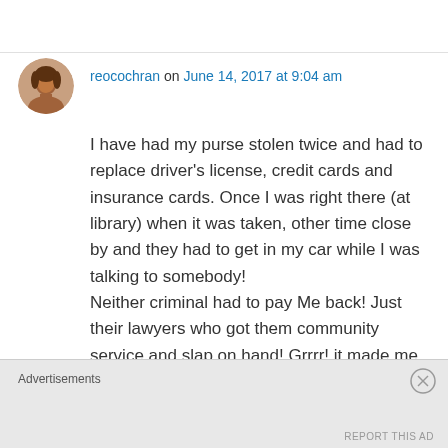reocochran on June 14, 2017 at 9:04 am
I have had my purse stolen twice and had to replace driver's license, credit cards and insurance cards. Once I was right there (at library) when it was taken, other time close by and they had to get in my car while I was talking to somebody!
Neither criminal had to pay Me back! Just their lawyers who got them community service and slap on hand! Grrrr! it made me upset!
Take care and it now is a little embarassing
Advertisements